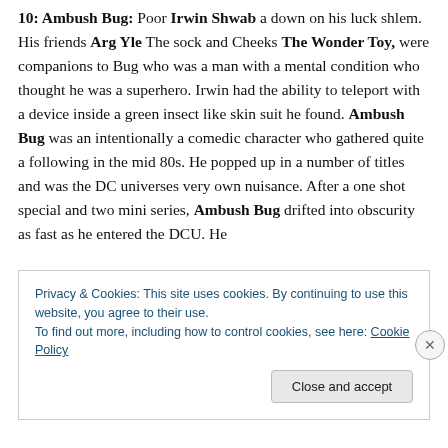10: Ambush Bug: Poor Irwin Shwab a down on his luck shlem. His friends Arg Yle The sock and Cheeks The Wonder Toy, were companions to Bug who was a man with a mental condition who thought he was a superhero. Irwin had the ability to teleport with a device inside a green insect like skin suit he found. Ambush Bug was an intentionally a comedic character who gathered quite a following in the mid 80s. He popped up in a number of titles and was the DC universes very own nuisance. After a one shot special and two mini series, Ambush Bug drifted into obscurity as fast as he entered the DCU. He
Privacy & Cookies: This site uses cookies. By continuing to use this website, you agree to their use.
To find out more, including how to control cookies, see here: Cookie Policy